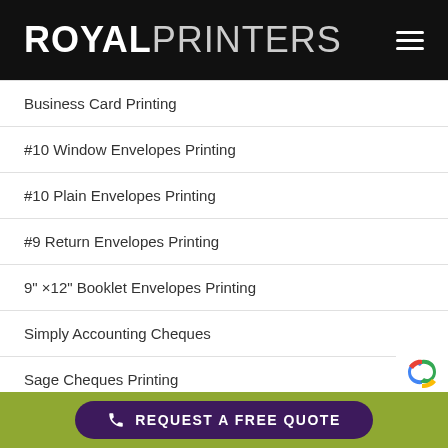ROYAL PRINTERS
Business Card Printing
#10 Window Envelopes Printing
#10 Plain Envelopes Printing
#9 Return Envelopes Printing
9" ×12" Booklet Envelopes Printing
Simply Accounting Cheques
Sage Cheques Printing
Quickbooks Cheques Printing
Canadian Business Cheques
REQUEST A FREE QUOTE